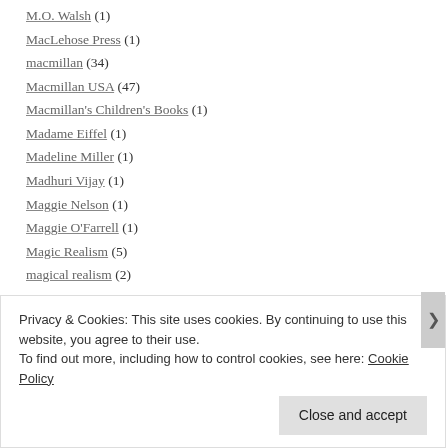M.O. Walsh (1)
MacLehose Press (1)
macmillan (34)
Macmillan USA (47)
Macmillan's Children's Books (1)
Madame Eiffel (1)
Madeline Miller (1)
Madhuri Vijay (1)
Maggie Nelson (1)
Maggie O'Farrell (1)
Magic Realism (5)
magical realism (2)
Privacy & Cookies: This site uses cookies. By continuing to use this website, you agree to their use. To find out more, including how to control cookies, see here: Cookie Policy
Close and accept